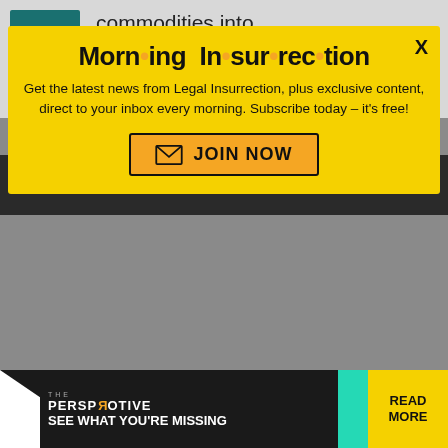commodities into existence the same way.
thad_the_man in reply to
[Figure (screenshot): Modal popup newsletter signup for Morning Insurrection with yellow background, orange dots in title, body text inviting subscription to Legal Insurrection newsletter, and an orange JOIN NOW button. Below the modal is a dark bar with a close X button and 'back to top' link, and a perspective advertisement banner at the bottom.]
Get the latest news from Legal Insurrection, plus exclusive content, direct to your inbox every morning. Subscribe today – it's free!
JOIN NOW
THE PERSPECTIVE SEE WHAT YOU'RE MISSING READ MORE